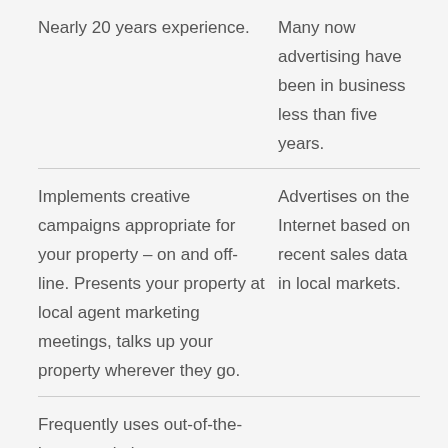Nearly 20 years experience.
Many now advertising have been in business less than five years.
Implements creative campaigns appropriate for your property – on and off-line. Presents your property at local agent marketing meetings, talks up your property wherever they go.
Advertises on the Internet based on recent sales data in local markets.
Frequently uses out-of-the-box negotiating